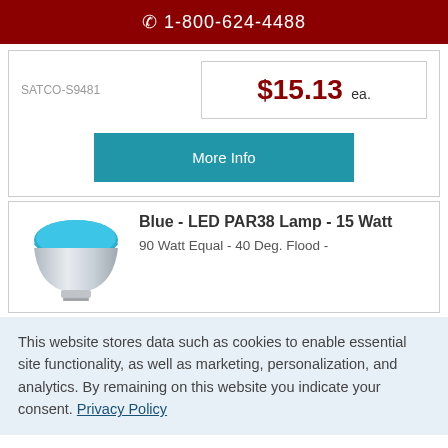☎ 1-800-624-4488
SATCO-S9481
$15.13 ea.
More Info
[Figure (photo): Blue LED PAR38 lamp bulb with silver/chrome base, viewed from slight angle]
Blue - LED PAR38 Lamp - 15 Watt
90 Watt Equal - 40 Deg. Flood -
This website stores data such as cookies to enable essential site functionality, as well as marketing, personalization, and analytics. By remaining on this website you indicate your consent. Privacy Policy